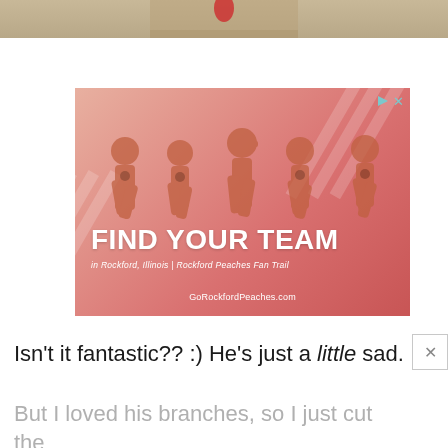[Figure (photo): Partial top strip of a photo showing sandy/rocky ground with a red element visible]
[Figure (infographic): Advertisement for 'Find Your Team in Rockford, Illinois | Rockford Peaches Fan Trail'. Shows a vintage sepia/red-tinted photo of five people in baseball uniforms running. URL: GoRockfordPeaches.com. Ad indicator icons in top-right corner.]
Isn't it fantastic?? :) He's just a little sad.
But I loved his branches, so I just cut the